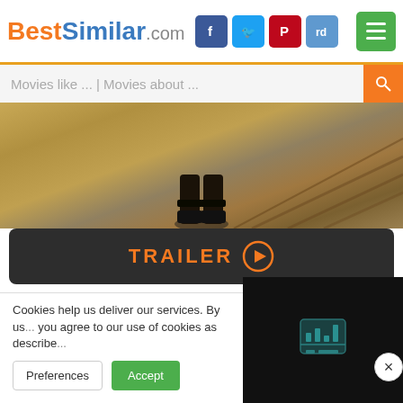BestSimilar.com
Movies like ... | Movies about ...
[Figure (photo): Movie still showing boots/legs at bottom of stairs, sepia-toned]
TRAILER ▶
Genre: Drama
Country: USA
Duration: 100 min.
+ Watchlist
Story: Harry's married to Marian and things are not going all that well, so he wants out but so... not the answer. After developing
Cookies help us deliver our services. By us... you agree to our use of cookies as describe...
Preferences
Accept